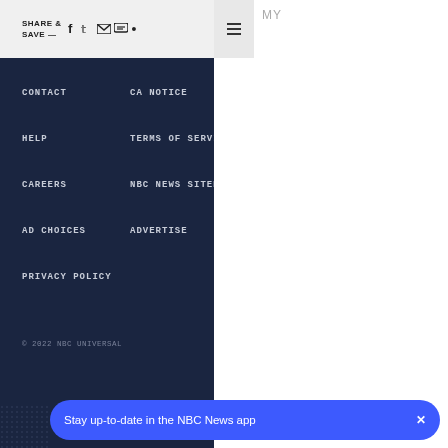SHARE & SAVE — [social icons] • [hamburger] MY
CONTACT
CA NOTICE
HELP
TERMS OF SERVICE
CAREERS
NBC NEWS SITEMAP
AD CHOICES
ADVERTISE
PRIVACY POLICY
© 2022 NBC UNIVERSAL
[Figure (logo): NBC News, MSNBC, TODAY brand logos]
Stay up-to-date in the NBC News app